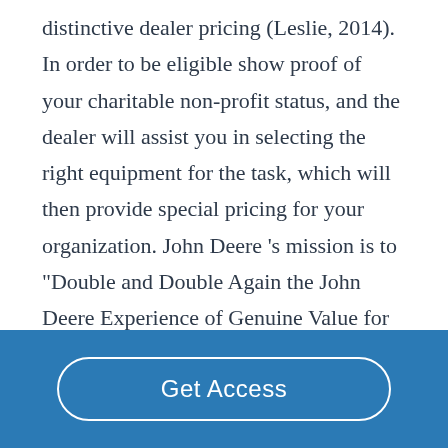distinctive dealer pricing (Leslie, 2014). In order to be eligible show proof of your charitable non-profit status, and the dealer will assist you in selecting the right equipment for the task, which will then provide special pricing for your organization. John Deere 's mission is to "Double and Double Again the John Deere Experience of Genuine Value for Employees, Customers, and Shareholders." This will be accomplished
Get Access